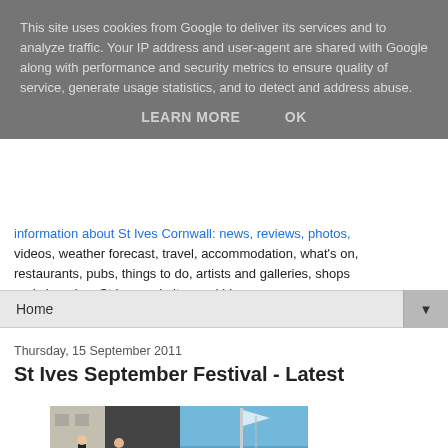This site uses cookies from Google to deliver its services and to analyze traffic. Your IP address and user-agent are shared with Google along with performance and security metrics to ensure quality of service, generate usage statistics, and to detect and address abuse.
LEARN MORE   OK
information about St Ives Cornwall: news, reviews, photos, videos, weather forecast, travel, accommodation, what's on, restaurants, pubs, things to do, artists and galleries, shops and shopping, St Ives websites and blogs.
Home
Thursday, 15 September 2011
St Ives September Festival - Latest
[Figure (photo): Two photos side by side: left shows people at an outdoor event, right shows a blue sky with a flagpole]